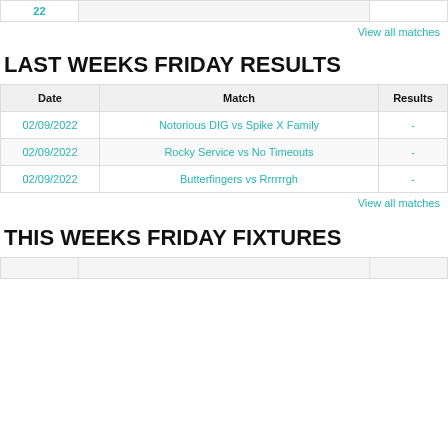|  |  |  |
| --- | --- | --- |
| 22 |  |  |
View all matches
LAST WEEKS FRIDAY RESULTS
| Date | Match | Results |
| --- | --- | --- |
| 02/09/2022 | Notorious DIG vs Spike X Family | - |
| 02/09/2022 | Rocky Service vs No Timeouts | - |
| 02/09/2022 | Butterfingers vs Rrrrrrgh | - |
View all matches
THIS WEEKS FRIDAY FIXTURES